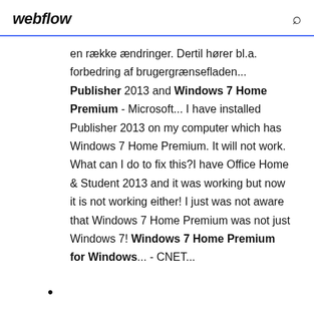webflow
en række ændringer. Dertil hører bl.a. forbedring af brugergrænsefladen... Publisher 2013 and Windows 7 Home Premium - Microsoft... I have installed Publisher 2013 on my computer which has Windows 7 Home Premium. It will not work. What can I do to fix this?I have Office Home & Student 2013 and it was working but now it is not working either! I just was not aware that Windows 7 Home Premium was not just Windows 7! Windows 7 Home Premium for Windows... - CNET...